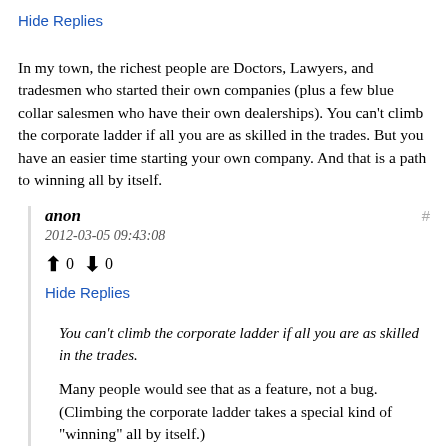Hide Replies
In my town, the richest people are Doctors, Lawyers, and tradesmen who started their own companies (plus a few blue collar salesmen who have their own dealerships). You can't climb the corporate ladder if all you are as skilled in the trades. But you have an easier time starting your own company. And that is a path to winning all by itself.
anon
2012-03-05 09:43:08
↑ 0 ↓ 0
Hide Replies
You can't climb the corporate ladder if all you are as skilled in the trades.
Many people would see that as a feature, not a bug. (Climbing the corporate ladder takes a special kind of "winning" all by itself.)